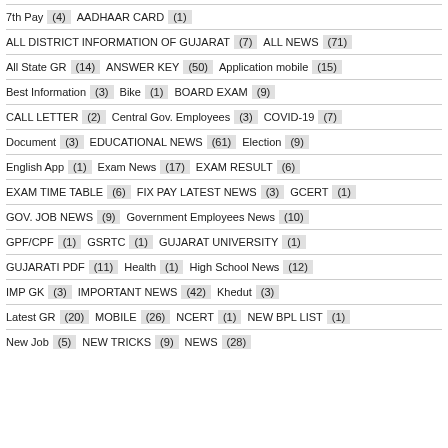7th Pay (4)  AADHAAR CARD (1)
ALL DISTRICT INFORMATION OF GUJARAT (7)  ALL NEWS (71)
All State GR (14)  ANSWER KEY (50)  Application mobile (15)
Best Information (3)  Bike (1)  BOARD EXAM (9)
CALL LETTER (2)  Central Gov. Employees (3)  COVID-19 (7)
Document (3)  EDUCATIONAL NEWS (61)  Election (9)
English App (1)  Exam News (17)  EXAM RESULT (6)
EXAM TIME TABLE (6)  FIX PAY LATEST NEWS (3)  GCERT (1)
GOV. JOB NEWS (9)  Government Employees News (10)
GPF/CPF (1)  GSRTC (1)  GUJARAT UNIVERSITY (1)
GUJARATI PDF (11)  Health (1)  High School News (12)
IMP GK (3)  IMPORTANT NEWS (42)  Khedut (3)
Latest GR (20)  MOBILE (26)  NCERT (1)  NEW BPL LIST (1)
New Job (5)  NEW TRICKS (9)  NEWS (28)